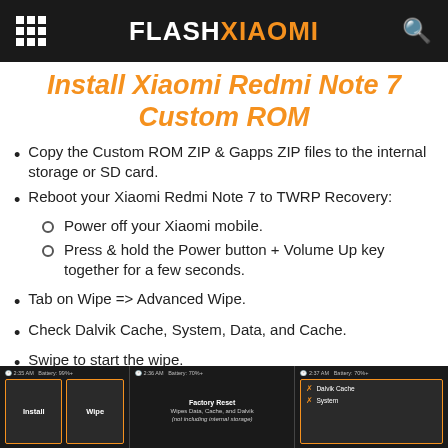FLASHXIAOMI
Install Xiaomi Redmi Note 7 Custom ROM
Copy the Custom ROM ZIP & Gapps ZIP files to the internal storage or SD card.
Reboot your Xiaomi Redmi Note 7 to TWRP Recovery:
Power off your Xiaomi mobile.
Press & hold the Power button + Volume Up key together for a few seconds.
Tab on Wipe => Advanced Wipe.
Check Dalvik Cache, System, Data, and Cache.
Swipe to start the wipe.
[Figure (screenshot): Three TWRP recovery screenshots showing Install, Wipe, Factory Reset/Wipe Data Cache Dalvik, and Dalvik Cache/System selection screens on a Xiaomi device]